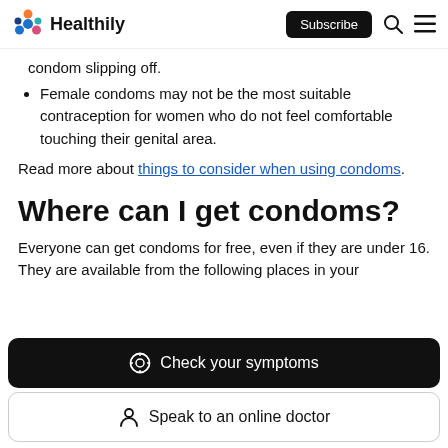Healthily | Subscribe
condom slipping off.
Female condoms may not be the most suitable contraception for women who do not feel comfortable touching their genital area.
Read more about things to consider when using condoms.
Where can I get condoms?
Everyone can get condoms for free, even if they are under 16. They are available from the following places in your
Check your symptoms
Speak to an online doctor